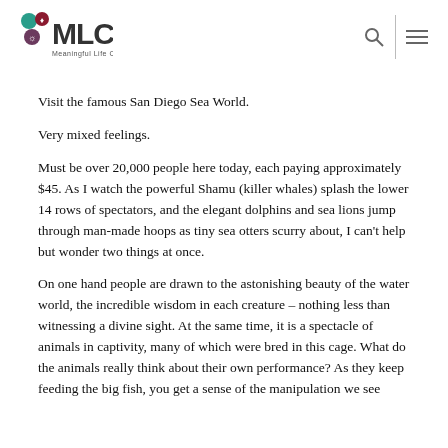MLC Meaningful Life Center
Visit the famous San Diego Sea World.
Very mixed feelings.
Must be over 20,000 people here today, each paying approximately $45. As I watch the powerful Shamu (killer whales) splash the lower 14 rows of spectators, and the elegant dolphins and sea lions jump through man-made hoops as tiny sea otters scurry about, I can't help but wonder two things at once.
On one hand people are drawn to the astonishing beauty of the water world, the incredible wisdom in each creature – nothing less than witnessing a divine sight. At the same time, it is a spectacle of animals in captivity, many of which were bred in this cage. What do the animals really think about their own performance? As they keep feeding the big fish, you get a sense of the manipulation we see